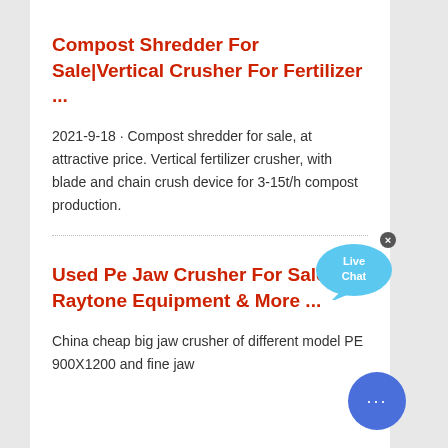Compost Shredder For Sale|Vertical Crusher For Fertilizer ...
2021-9-18 · Compost shredder for sale, at attractive price. Vertical fertilizer crusher, with blade and chain crush device for 3-15t/h compost production.
Used Pe Jaw Crusher For Sale. Raytone Equipment & More ...
China cheap big jaw crusher of different model PE 900X1200 and fine jaw